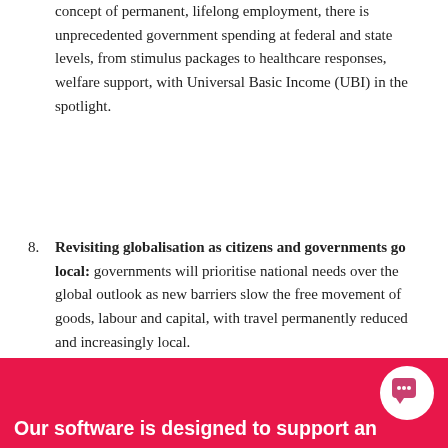concept of permanent, lifelong employment, there is unprecedented government spending at federal and state levels, from stimulus packages to healthcare responses, welfare support, with Universal Basic Income (UBI) in the spotlight.
8. Revisiting globalisation as citizens and governments go local: governments will prioritise national needs over the global outlook as new barriers slow the free movement of goods, labour and capital, with travel permanently reduced and increasingly local.
This article was first published on hradvance.com.au by Catherine Ngo.
Our software is designed to support an